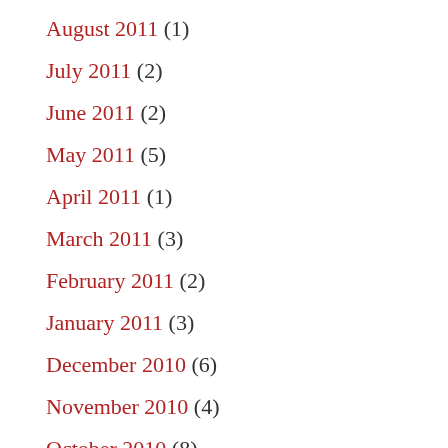August 2011 (1)
July 2011 (2)
June 2011 (2)
May 2011 (5)
April 2011 (1)
March 2011 (3)
February 2011 (2)
January 2011 (3)
December 2010 (6)
November 2010 (4)
October 2010 (8)